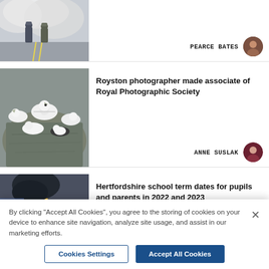[Figure (photo): Firefighters in smoke on a road, partial view at top]
PEARCE BATES
[Figure (photo): Gannets/seabirds resting on rocky surface]
Royston photographer made associate of Royal Photographic Society
ANNE SUSLAK
[Figure (photo): Child writing with pencil, close-up]
Hertfordshire school term dates for pupils and parents in 2022 and 2023
By clicking "Accept All Cookies", you agree to the storing of cookies on your device to enhance site navigation, analyze site usage, and assist in our marketing efforts.
Cookies Settings
Accept All Cookies